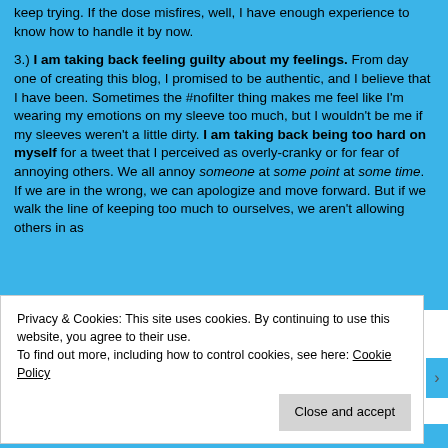keep trying. If the dose misfires, well, I have enough experience to know how to handle it by now.
3.) I am taking back feeling guilty about my feelings. From day one of creating this blog, I promised to be authentic, and I believe that I have been. Sometimes the #nofilter thing makes me feel like I'm wearing my emotions on my sleeve too much, but I wouldn't be me if my sleeves weren't a little dirty. I am taking back being too hard on myself for a tweet that I perceived as overly-cranky or for fear of annoying others. We all annoy someone at some point at some time. If we are in the wrong, we can apologize and move forward. But if we walk the line of keeping too much to ourselves, we aren't allowing others in as
Privacy & Cookies: This site uses cookies. By continuing to use this website, you agree to their use.
To find out more, including how to control cookies, see here: Cookie Policy